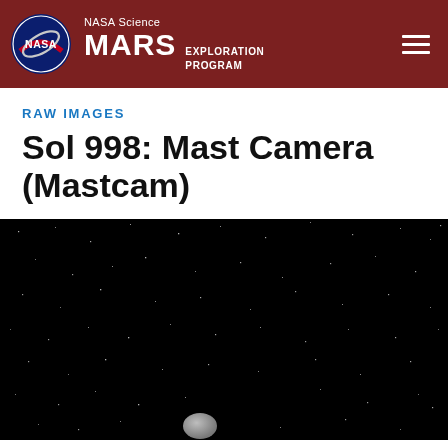NASA Science MARS EXPLORATION PROGRAM
RAW IMAGES
Sol 998: Mast Camera (Mastcam)
[Figure (photo): Raw image from Mars Mastcam showing a dark, nearly black sky/space scene with scattered white pixels representing stars or noise, and a small grey oval shape near the bottom center of the image, likely a celestial body or camera artifact.]